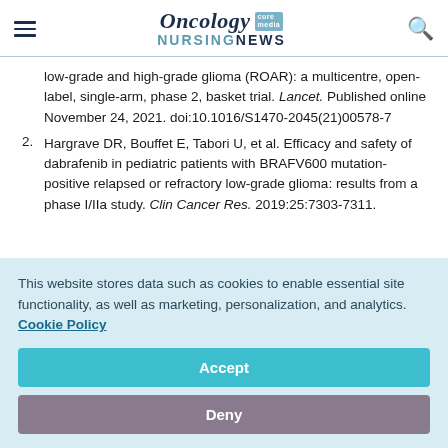Oncology Nursing News
low-grade and high-grade glioma (ROAR): a multicentre, open-label, single-arm, phase 2, basket trial. Lancet. Published online November 24, 2021. doi:10.1016/S1470-2045(21)00578-7
2. Hargrave DR, Bouffet E, Tabori U, et al. Efficacy and safety of dabrafenib in pediatric patients with BRAFV600 mutation-positive relapsed or refractory low-grade glioma: results from a phase I/IIa study. Clin Cancer Res. 2019:25:7303-7311.
This website stores data such as cookies to enable essential site functionality, as well as marketing, personalization, and analytics. Cookie Policy
Accept
Deny